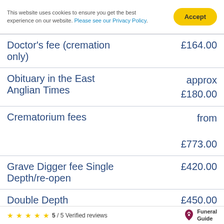This website uses cookies to ensure you get the best experience on our website. Please see our Privacy Policy.
| Service | Price |
| --- | --- |
| Doctor's fee (cremation only) | £164.00 |
| Obituary in the East Anglian Times | approx £180.00 |
| Crematorium fees | from £773.00 |
| Grave Digger fee Single Depth/re-open | £420.00 |
| Double Depth | £450.00 |
| Removal of Headstone | from £108.00 |
5 / 5 Verified reviews — Funeral Guide